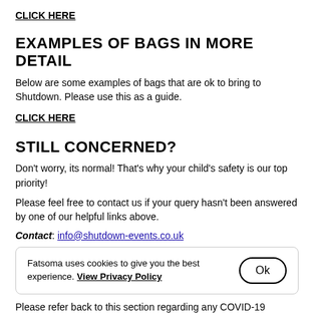CLICK HERE
EXAMPLES OF BAGS IN MORE DETAIL
Below are some examples of bags that are ok to bring to Shutdown. Please use this as a guide.
CLICK HERE
STILL CONCERNED?
Don't worry, its normal! That's why your child's safety is our top priority!
Please feel free to contact us if your query hasn't been answered by one of our helpful links above.
Contact: info@shutdown-events.co.uk
Fatsoma uses cookies to give you the best experience. View Privacy Policy  Ok
Please refer back to this section regarding any COVID-19 updates, and how we are working to the government guidance and latest